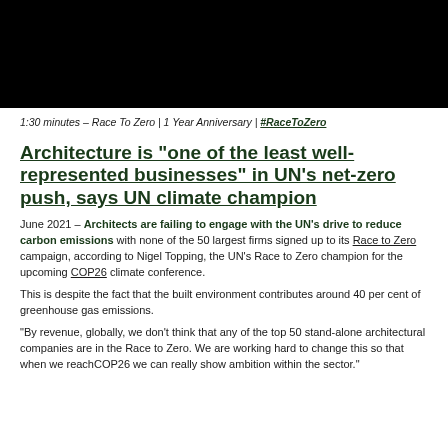[Figure (photo): Black rectangle representing a video thumbnail for Race To Zero 1 Year Anniversary]
1:30 minutes – Race To Zero | 1 Year Anniversary | #RaceToZero
Architecture is “one of the least well-represented businesses” in UN’s net-zero push, says UN climate champion
June 2021 – Architects are failing to engage with the UN’s drive to reduce carbon emissions with none of the 50 largest firms signed up to its Race to Zero campaign, according to Nigel Topping, the UN’s Race to Zero champion for the upcoming COP26 climate conference.
This is despite the fact that the built environment contributes around 40 per cent of greenhouse gas emissions.
“By revenue, globally, we don’t think that any of the top 50 stand-alone architectural companies are in the Race to Zero. We are working hard to change this so that when we reachCOP26 we can really show ambition within the sector.”